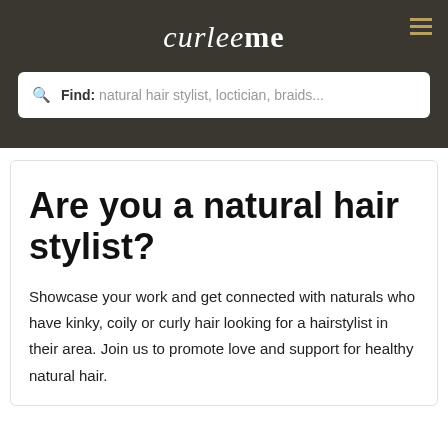curleeme
Find: natural hair stylist, loctician, braids...
Are you a natural hair stylist?
Showcase your work and get connected with naturals who have kinky, coily or curly hair looking for a hairstylist in their area. Join us to promote love and support for healthy natural hair.